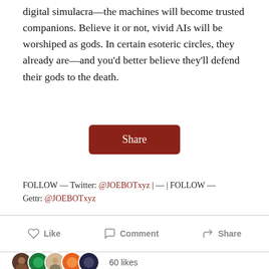digital simulacra—the machines will become trusted companions. Believe it or not, vivid AIs will be worshiped as gods. In certain esoteric circles, they already are—and you'd better believe they'll defend their gods to the death.
[Figure (other): A dark red rounded rectangle Share button]
FOLLOW — Twitter: @JOEBOTxyz | — | FOLLOW — Gettr: @JOEBOTxyz
Like   Comment   Share
60 likes